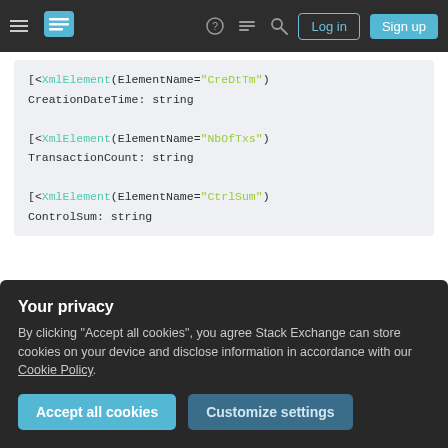Stack Exchange navigation bar with hamburger menu, logo, help, chat, search, Log in, Sign up buttons
[<XmlElement(ElementName="CreDtTm") CreationDateTime: string

[<XmlElement(ElementName="NbOfTxs") TransactionCount: string

[<XmlElement(ElementName="CtrlSum") ControlSum: string
Using the XmlProvider with a XSD file:
pain.001.001.03.xsd :
[<AutoOpen>]
Your privacy
By clicking "Accept all cookies", you agree Stack Exchange can store cookies on your device and disclose information in accordance with our Cookie Policy.
Accept all cookies   Customize settings